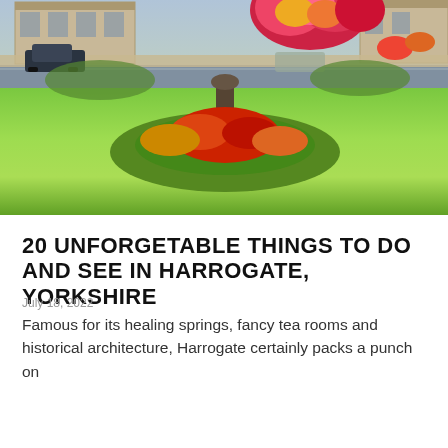[Figure (photo): Outdoor photo of a public garden or park in Harrogate, Yorkshire. Shows a green lawn with a decorative flower bed featuring colorful red, orange and yellow flowers arranged around an ornamental urn on a pedestal. In the background there is a road with a dark car parked, stone buildings, and hanging flower baskets. Bright sunny day with vivid green grass.]
20 UNFORGETABLE THINGS TO DO AND SEE IN HARROGATE, YORKSHIRE
July 18, 2022
Famous for its healing springs, fancy tea rooms and historical architecture, Harrogate certainly packs a punch on